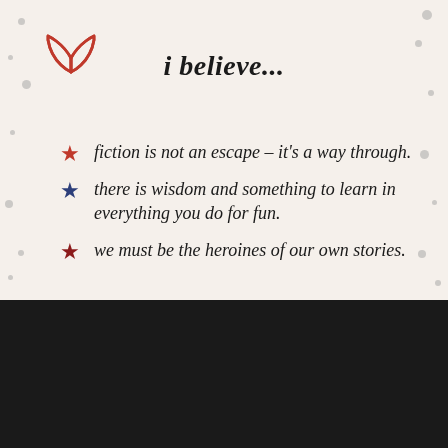[Figure (illustration): Open book icon outline in coral/red color, top-left corner]
i believe...
fiction is not an escape – it's a way through.
there is wisdom and something to learn in everything you do for fun.
we must be the heroines of our own stories.
We are using cookies to give you the best experience on our website.
You can find out more about which cookies we are using or switch them off in settings.
Accept